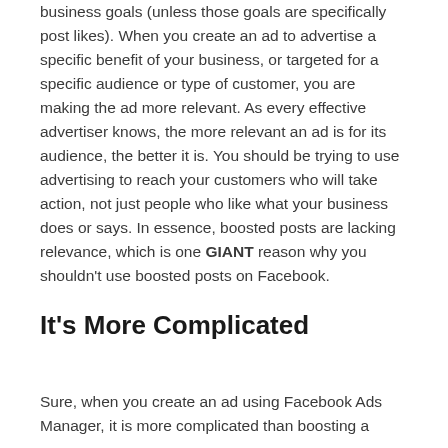business goals (unless those goals are specifically post likes). When you create an ad to advertise a specific benefit of your business, or targeted for a specific audience or type of customer, you are making the ad more relevant. As every effective advertiser knows, the more relevant an ad is for its audience, the better it is. You should be trying to use advertising to reach your customers who will take action, not just people who like what your business does or says. In essence, boosted posts are lacking relevance, which is one GIANT reason why you shouldn't use boosted posts on Facebook.
It's More Complicated
Sure, when you create an ad using Facebook Ads Manager, it is more complicated than boosting a